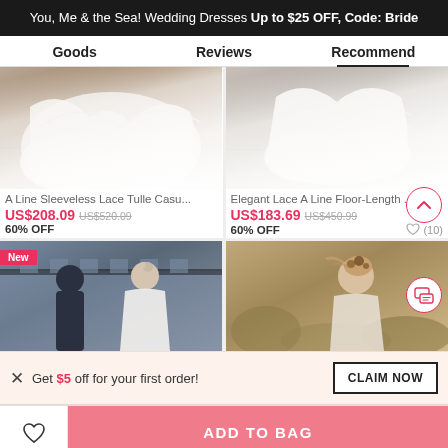You, Me & the Sea! Wedding Dresses Up to $25 OFF, Code: Bride
Goods | Reviews | Recommend
[Figure (photo): Wedding dress bottom detail - A Line Sleeveless Lace Tulle, white flowing fabric on stone ground]
A Line Sleeveless Lace Tulle Casu...
US$208.09  US$520.09
60% OFF
[Figure (photo): Wedding dress bottom detail - Elegant Lace A Line Floor-Length, white flowing fabric on cobblestone]
Elegant Lace A Line Floor-Length ...
US$183.69  US$450.99
60% OFF
(10)
[Figure (photo): Couple at wedding - bride with floral headpiece and groom in dark suit, castle in background. New badge.]
[Figure (photo): Bride with floral headpiece in outdoor setting with natural background]
Get $5 off for your first order!
CLAIM NOW
ADD TO BAG